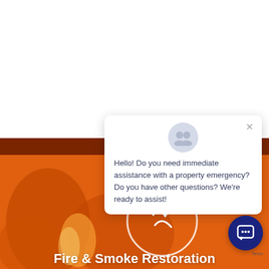[Figure (photo): Fire and smoke background image with orange flames, dark orange top strip, and a white circular logo/icon overlay in the center-right area.]
Hello! Do you need immediate assistance with a property emergency? Do you have other questions? We're ready to assist!
Fire & Smoke Restoration